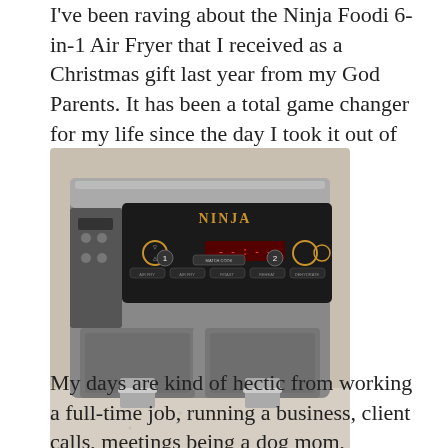I've been raving about the Ninja Foodi 6-in-1 Air Fryer that I received as a Christmas gift last year from my God Parents. It has been a total game changer for my life since the day I took it out of the box.
[Figure (photo): Close-up photo of a Ninja Foodi dual-basket air fryer showing the control panel with the Ninja logo, two cooking zones with digital display, and two pull-out drawers with chrome handles, placed on a granite countertop.]
My days are kind of hectic from working a full-time job, running a business, client calls, meetings being a dog mom, working out ...and the list goes on.